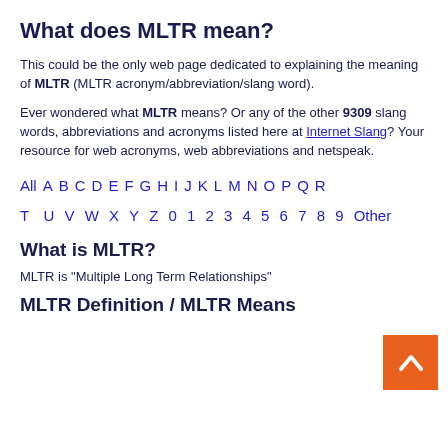What does MLTR mean?
This could be the only web page dedicated to explaining the meaning of MLTR (MLTR acronym/abbreviation/slang word).
Ever wondered what MLTR means? Or any of the other 9309 slang words, abbreviations and acronyms listed here at Internet Slang? Your resource for web acronyms, web abbreviations and netspeak.
All A B C D E F G H I J K L M N O P Q R T U V W X Y Z 0 1 2 3 4 5 6 7 8 9 Other
What is MLTR?
MLTR is "Multiple Long Term Relationships"
MLTR Definition / MLTR Means